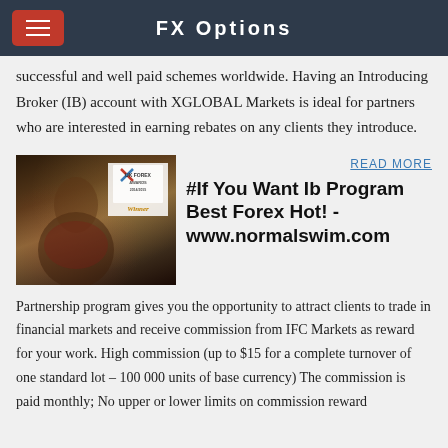FX Options
successful and well paid schemes worldwide. Having an Introducing Broker (IB) account with XGLOBAL Markets is ideal for partners who are interested in earning rebates on any clients they introduce.
[Figure (photo): Woman holding award trophy at UK Forex Winner event]
READ MORE
#If You Want Ib Program Best Forex Hot! - www.normalswim.com
Partnership program gives you the opportunity to attract clients to trade in financial markets and receive commission from IFC Markets as reward for your work. High commission (up to $15 for a complete turnover of one standard lot – 100 000 units of base currency) The commission is paid monthly; No upper or lower limits on commission reward